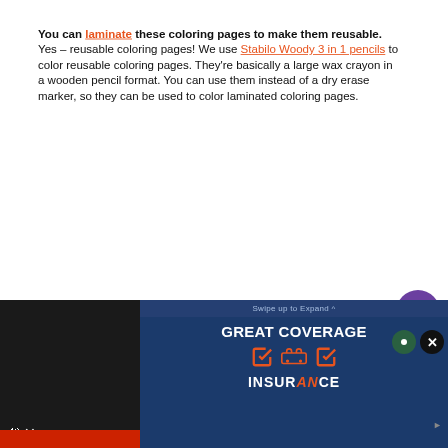You can laminate these coloring pages to make them reusable. Yes – reusable coloring pages! We use Stabilo Woody 3 in 1 pencils to color reusable coloring pages. They're basically a large wax crayon in a wooden pencil format. You can use them instead of a dry erase marker, so they can be used to color laminated coloring pages.
[Figure (screenshot): Social sidebar with heart/like button showing 225 likes and a share button]
[Figure (screenshot): What's Next promo box: Free Printable Vehicle Dot...]
Your can see a laminated p... ed
[Figure (screenshot): Insurance advertisement overlay: Swipe up to Expand. GREAT COVERAGE with icons. INSURANCE logo. Video panel on left with mute button. Close buttons top right.]